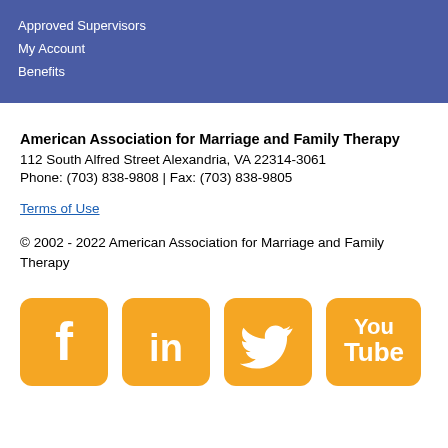Approved Supervisors
My Account
Benefits
American Association for Marriage and Family Therapy
112 South Alfred Street Alexandria, VA 22314-3061
Phone: (703) 838-9808 | Fax: (703) 838-9805
Terms of Use
© 2002 - 2022 American Association for Marriage and Family Therapy
[Figure (logo): Four social media icons in orange/yellow rounded squares: Facebook (f), LinkedIn (in), Twitter (bird), YouTube (You Tube)]